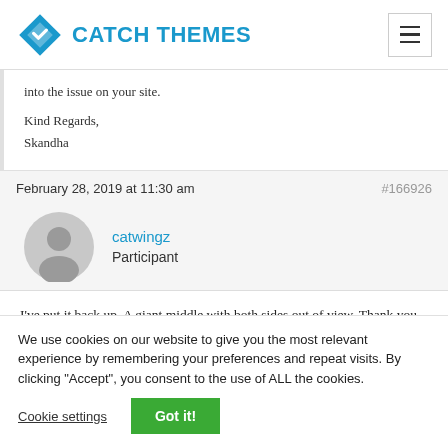Catch Themes
into the issue on your site.

Kind Regards,
Skandha
February 28, 2019 at 11:30 am  #166926
catwingz
Participant
I've put it back up. A giant middle with both sides out of view. Thank you
We use cookies on our website to give you the most relevant experience by remembering your preferences and repeat visits. By clicking "Accept", you consent to the use of ALL the cookies.